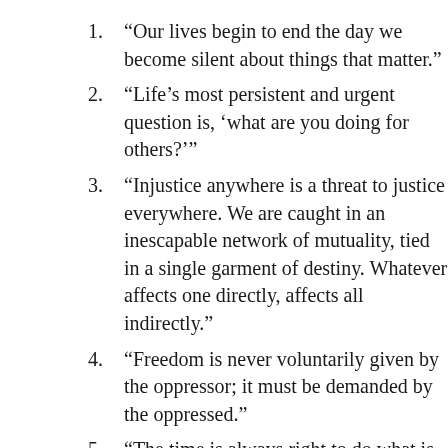1. “Our lives begin to end the day we become silent about things that matter.”
2. “Life’s most persistent and urgent question is, ‘what are you doing for others?’”
3. “Injustice anywhere is a threat to justice everywhere. We are caught in an inescapable network of mutuality, tied in a single garment of destiny. Whatever affects one directly, affects all indirectly.”
4. “Freedom is never voluntarily given by the oppressor; it must be demanded by the oppressed.”
5. “The time is always right to do what is right.”
6. “We must accept finite disappointment, but never lose infinite hope.”
7. “If you can’t fly then run, if you can’t run then walk, if you can’t walk then crawl, but whatever